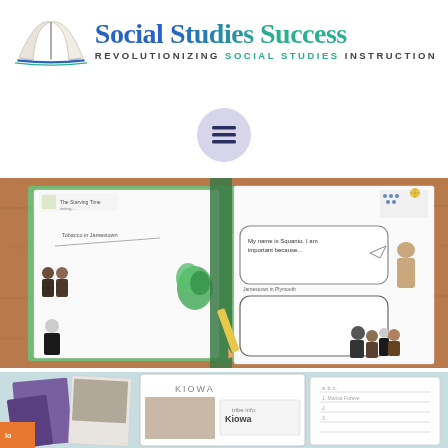[Figure (logo): Social Studies Success logo with open book illustration and tagline REVOLUTIONIZING SOCIAL STUDIES INSTRUCTION]
[Figure (illustration): Hamburger menu button icon — three horizontal lines in a lavender circle]
[Figure (photo): Photo of social studies worksheets/foldables on a wooden desk — showing Jamestown and Plymouth colony activities with historical figures]
[Figure (photo): Partial photo at bottom showing Kiowa tribe educational materials and cards spread out]